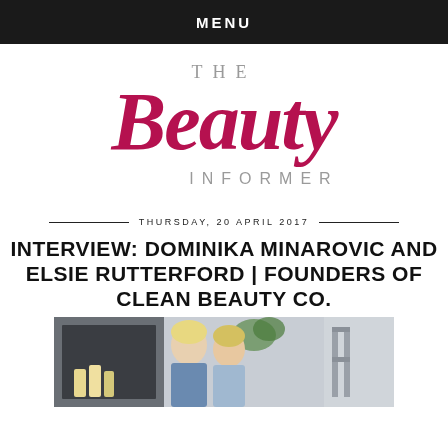MENU
[Figure (logo): The Beauty Informer logo — 'THE' in grey serif, 'Beauty' in large crimson brush script, 'INFORMER' in grey spaced capitals]
THURSDAY, 20 APRIL 2017
INTERVIEW: DOMINIKA MINAROVIC AND ELSIE RUTTERFORD | FOUNDERS OF CLEAN BEAUTY CO.
[Figure (photo): Two blonde women standing/sitting indoors near shelving with bottles, plant visible in background]